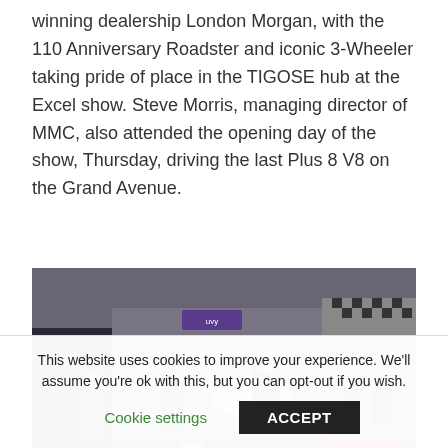winning dealership London Morgan, with the 110 Anniversary Roadster and iconic 3-Wheeler taking pride of place in the TIGOSE hub at the Excel show. Steve Morris, managing director of MMC, also attended the opening day of the show, Thursday, driving the last Plus 8 V8 on the Grand Avenue.
[Figure (photo): Indoor automotive show scene with people gathered around vintage and classic cars including a blue open-wheel car and red motorcycle, in a large exhibition hall]
This website uses cookies to improve your experience. We'll assume you're ok with this, but you can opt-out if you wish. Cookie settings ACCEPT